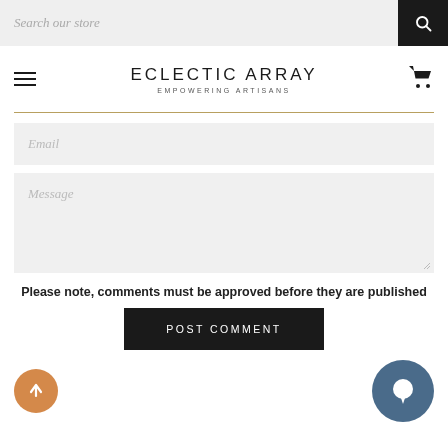Search our store
ECLECTIC ARRAY
EMPOWERING ARTISANS
Email
Message
Please note, comments must be approved before they are published
POST COMMENT